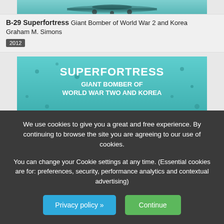[Figure (photo): Cropped top portion of a book cover showing aircraft]
B-29 Superfortress Giant Bomber of World War 2 and Korea
Graham M. Simons
2012
[Figure (photo): Book cover: Superfortress Giant Bomber of World War Two and Korea — teal/green tinted image of B-29 bomber aircraft]
B-29 Superfortress Giant Bomber of World War Two and Korea
Graham M Simons
2012
Boeing B-52 Stratofortress
We use cookies to give you a great and free experience. By continuing to browse the site you are agreeing to our use of cookies.

You can change your Cookie settings at any time. (Essential cookies are for: preferences, security, performance analytics and contextual advertising)
Privacy policy »
Continue